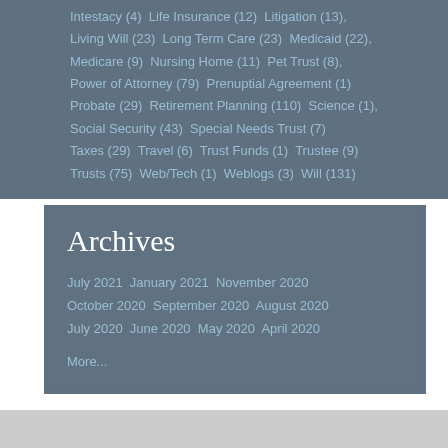Intestacy (4)  Life Insurance (12)  Litigation (13)  Living Will (23)  Long Term Care (23)  Medicaid (22)  Medicare (9)  Nursing Home (11)  Pet Trust (8)  Power of Attorney (79)  Prenuptial Agreement (1)  Probate (29)  Retirement Planning (110)  Science (1)  Social Security (43)  Special Needs Trust (7)  Taxes (29)  Travel (6)  Trust Funds (1)  Trustee (9)  Trusts (75)  Web/Tech (1)  Weblogs (3)  Will (131)
Archives
July 2021  January 2021  November 2020  October 2020  September 2020  August 2020  July 2020  June 2020  May 2020  April 2020
More...